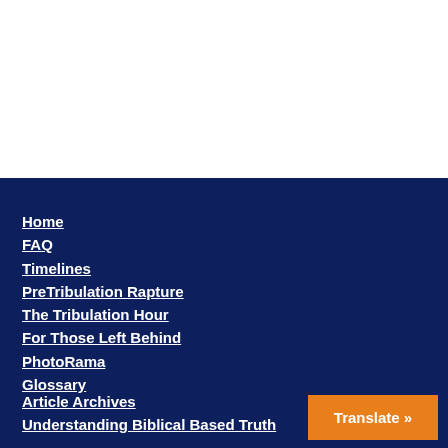Home
FAQ
Timelines
PreTribulation Rapture
The Tribulation Hour
For Those Left Behind
PhotoRama
Glossary
Article Archives
Understanding Biblical Based Truth
Translate »